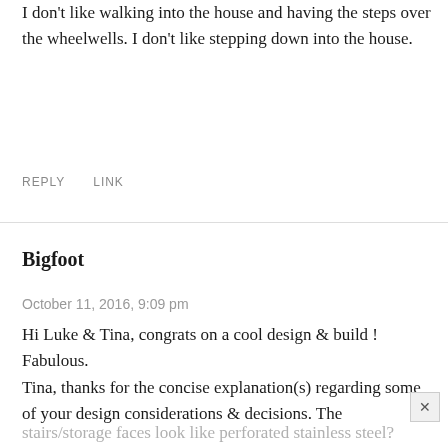I don't like walking into the house and having the steps over the wheelwells. I don't like stepping down into the house.
REPLY   LINK
Bigfoot
October 11, 2016, 9:09 pm
Hi Luke & Tina, congrats on a cool design & build ! Fabulous.
Tina, thanks for the concise explanation(s) regarding some of your design considerations & decisions. The
stairs/storage faces look like perforated stainless steel?